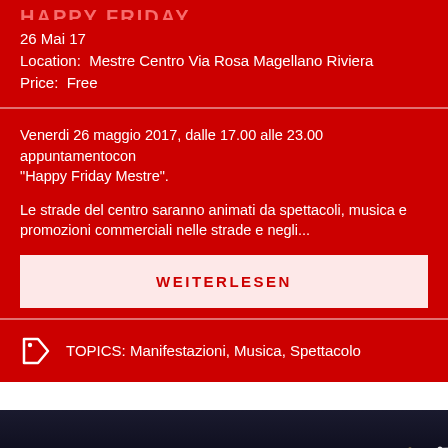HAPPY FRIDAY
26 Mai 17
Location:  Mestre Centro Via Rosa Magellano Riviera
Price:  Free
Venerdi 26 maggio 2017, dalle 17.00 alle 23.00 appuntamentocon "Happy Friday Mestre".

Le strade del centro saranno animati da spettacoli, musica e promozioni commerciali nelle strade e negli...
WEITERLESEN
TOPICS: Manifestazioni, Musica, Spettacolo
[Figure (photo): Night cityscape with string lights along a bridge or waterfront]